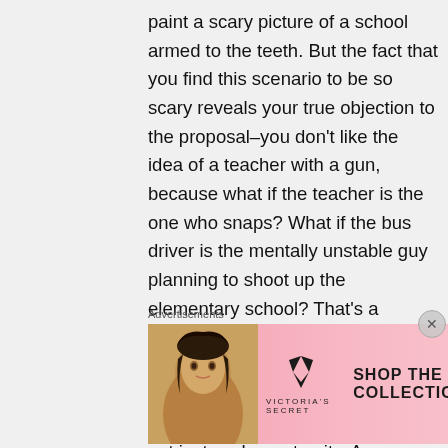paint a scary picture of a school armed to the teeth. But the fact that you find this scenario to be so scary reveals your true objection to the proposal–you don't like the idea of a teacher with a gun, because what if the teacher is the one who snaps? What if the bus driver is the mentally unstable guy planning to shoot up the elementary school? That's a legitimate concern, but easily answerable. Because there is currently NOTHING to prevent the teacher or bus driver from carrying out just such an atrocity. Anyone who can pass the review
Advertisements
[Figure (other): Victoria's Secret advertisement banner with a model photo on the left, Victoria's Secret logo in the center, 'SHOP THE COLLECTION' text, and a 'SHOP NOW' button on a pink background.]